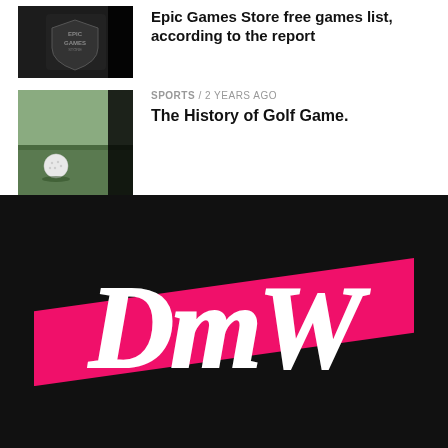[Figure (photo): Epic Games Store logo on dark background thumbnail]
Epic Games Store free games list, according to the report
[Figure (photo): Golf ball on grass course thumbnail]
SPORTS / 2 years ago
The History of Golf Game.
[Figure (logo): DMW logo - white brush-stroke lettering on hot pink diagonal band over black background]